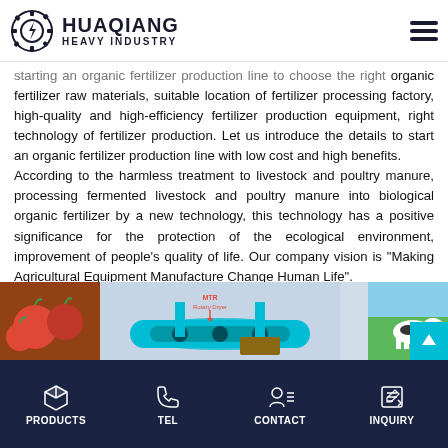HUAQIANG HEAVY INDUSTRY
starting an organic fertilizer production line to choose the right organic fertilizer raw materials, suitable location of fertilizer processing factory, high-quality and high-efficiency fertilizer production equipment, right technology of fertilizer production. Let us introduce the details to start an organic fertilizer production line with low cost and high benefits.
According to the harmless treatment to livestock and poultry manure, processing fermented livestock and poultry manure into biological organic fertilizer by a new technology, this technology has a positive significance for the protection of the ecological environment, improvement of people's quality of life. Our company vision is "Making Agricultural Equipment Manufacture Change Human Life".
[Figure (photo): Image strip showing tomatoes on the left, industrial fertilizer processing equipment in the center (blue pipes, rotary dryer labeled MTR), and dairy cows on a green field on the right.]
PRODUCTS | TEL | CONTACT | INQUIRY